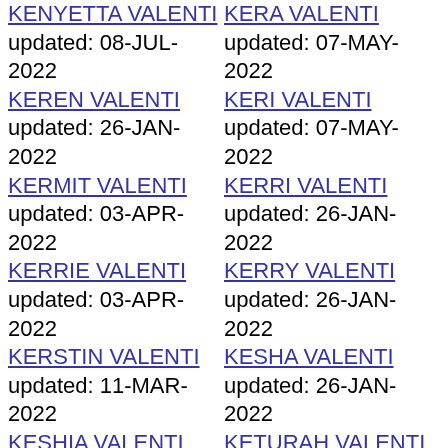KENYETTA VALENTI updated: 08-JUL-2022
KERA VALENTI updated: 07-MAY-2022
KEREN VALENTI updated: 26-JAN-2022
KERI VALENTI updated: 07-MAY-2022
KERMIT VALENTI updated: 03-APR-2022
KERRI VALENTI updated: 26-JAN-2022
KERRIE VALENTI updated: 03-APR-2022
KERRY VALENTI updated: 26-JAN-2022
KERSTIN VALENTI updated: 11-MAR-2022
KESHA VALENTI updated: 26-JAN-2022
KESHIA VALENTI updated: 03-APR-2022
KETURAH VALENTI updated: 11-MAR-2022
KEVA VALENTI updated: 07-MAY-2022
KEVEN VALENTI updated: 26-JAN-2022
KEVIN VALENTI updated: 31-DEC-2021
KHADIJAH VALENTI updated: 08-JUL-2022
KHALILAH VALENTI updated: 08-JUL-2022
KIA VALENTI updated: 03-FEB-2022
KIANA VALENTI updated: 26-JAN-2022
KIARA VALENTI updated: 26-JAN-2022